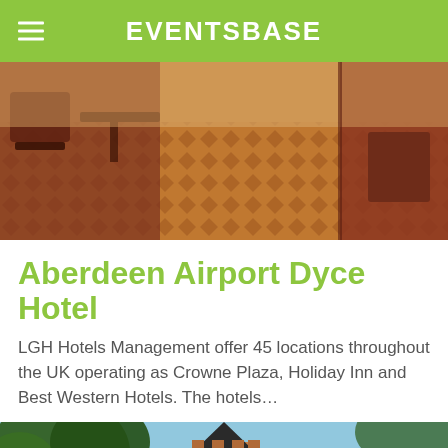EVENTSBASE
[Figure (photo): Interior of a hotel conference or lobby area with patterned carpet, wooden chairs, and dark red walls]
Aberdeen Airport Dyce Hotel
LGH Hotels Management offer 45 locations throughout the UK operating as Crowne Plaza, Holiday Inn and Best Western Hotels. The hotels...
[Figure (photo): Exterior of a historic sandstone building with a distinctive turret/spire, framed by trees against a blue sky]